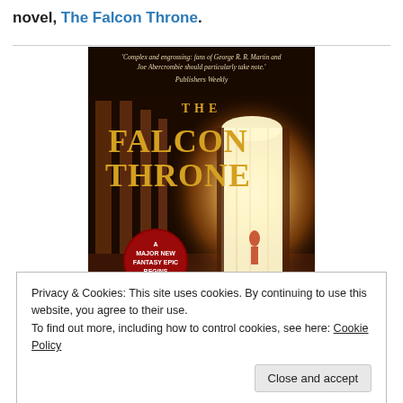novel, The Falcon Throne.
[Figure (photo): Book cover of 'The Falcon Throne' — dark fantasy novel cover with golden title text, a figure silhouetted against a bright doorway in a grand hall, with a quote from Publishers Weekly and a red medallion badge reading 'A MAJOR NEW FANTASY EPIC BEGINS'.]
Privacy & Cookies: This site uses cookies. By continuing to use this website, you agree to their use.
To find out more, including how to control cookies, see here: Cookie Policy
Close and accept